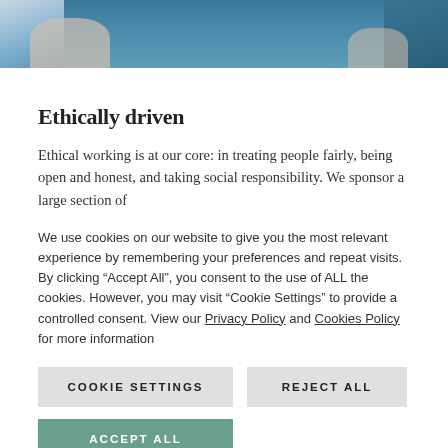[Figure (photo): Partial photo of a person, cropped at top of page, showing blue/teal clothing tones]
Ethically driven
Ethical working is at our core: in treating people fairly, being open and honest, and taking social responsibility. We sponsor a large section of
We use cookies on our website to give you the most relevant experience by remembering your preferences and repeat visits. By clicking “Accept All”, you consent to the use of ALL the cookies. However, you may visit “Cookie Settings” to provide a controlled consent. View our Privacy Policy and Cookies Policy for more information